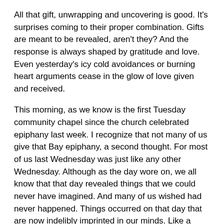All that gift, unwrapping and uncovering is good. It's surprises coming to their proper combination. Gifts are meant to be revealed, aren't they? And the response is always shaped by gratitude and love. Even yesterday's icy cold avoidances or burning heart arguments cease in the glow of love given and received.
This morning, as we know is the first Tuesday community chapel since the church celebrated epiphany last week. I recognize that not many of us give that Bay epiphany, a second thought. For most of us last Wednesday was just like any other Wednesday. Although as the day wore on, we all know that that day revealed things that we could never have imagined. And many of us wished had never happened. Things occurred on that day that are now indelibly imprinted in our minds. Like a memory of an event. You'll always recall where you were and who you're with when it happened.
But even in last week's troubles, as they still echo in our